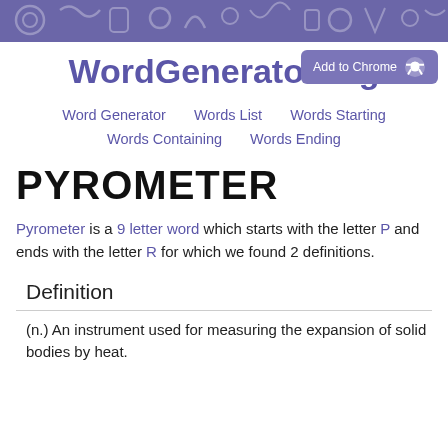WordGenerator.org
Add to Chrome
WordGenerator.org
Word Generator   Words List   Words Starting   Words Containing   Words Ending
PYROMETER
Pyrometer is a 9 letter word which starts with the letter P and ends with the letter R for which we found 2 definitions.
Definition
(n.) An instrument used for measuring the expansion of solid bodies by heat.